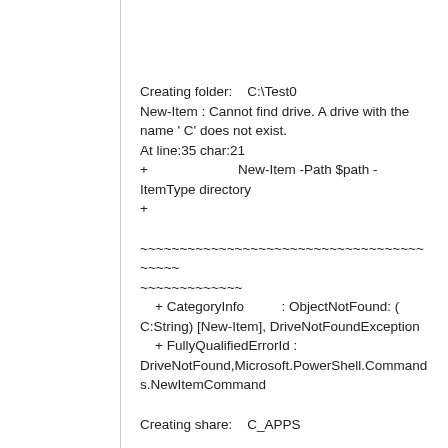Creating folder:    C:\Test0
New-Item : Cannot find drive. A drive with the name ' C' does not exist.
At line:35 char:21
+                        New-Item -Path $path -ItemType directory
+
 ~~~~~~~~~~~~~~~~~~~~~~~~~~~~~~~~~~~~~~~~~
    + CategoryInfo          : ObjectNotFound: ( C:String) [New-Item], DriveNotFoundException
    + FullyQualifiedErrorId : DriveNotFound,Microsoft.PowerShell.Commands.NewItemCommand

Creating share:    C_APPS